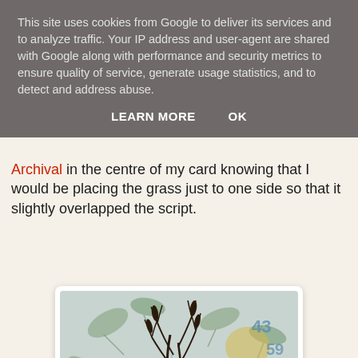This site uses cookies from Google to deliver its services and to analyze traffic. Your IP address and user-agent are shared with Google along with performance and security metrics to ensure quality of service, generate usage statistics, and to detect and address abuse.
LEARN MORE    OK
Archival in the centre of my card knowing that I would be placing the grass just to one side so that it slightly overlapped the script.
[Figure (photo): Decorative art card showing botanical grass/plant sprig in dark ink overlaid on a background with leaf motifs, numbers, and cursive handwritten script text, in muted blue, green, and yellow tones.]